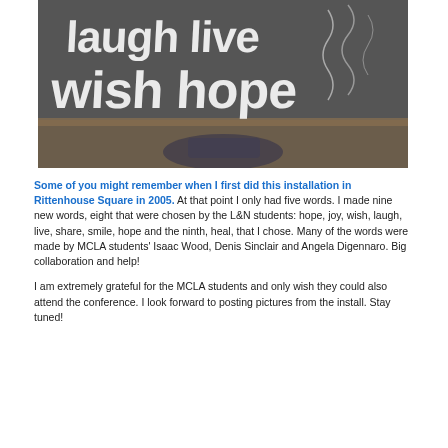[Figure (photo): Photo of an art installation with large white letters on a dark background reading 'laugh live wish hope', with a person visible in the lower portion of the image.]
Some of you might remember when I first did this installation in Rittenhouse Square in 2005. At that point I only had five words. I made nine new words, eight that were chosen by the L&N students: hope, joy, wish, laugh, live, share, smile, hope and the ninth, heal, that I chose. Many of the words were made by MCLA students' Isaac Wood, Denis Sinclair and Angela Digennaro. Big collaboration and help!

I am extremely grateful for the MCLA students and only wish they could also attend the conference. I look forward to posting pictures from the install. Stay tuned!